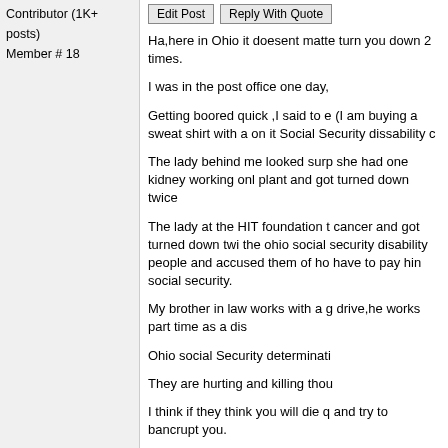Contributor (1K+ posts)
Member # 18
Edit Post | Reply With Quote
Ha,here in Ohio it doesent matte turn you down 2 times.
I was in the post office one day,
Getting boored quick ,I said to e (I am buying a sweat shirt with a on it Social Security dissability c
The lady behind me looked surp she had one kidney working onl plant and got turned down twice
The lady at the HIT foundation t cancer and got turned down twi the ohio social security disability people and accused them of ho have to pay hin social security.
My brother in law works with a g drive,he works part time as a dis
Ohio social Security determinati
They are hurting and killing thou
I think if they think you will die q and try to bancrupt you.